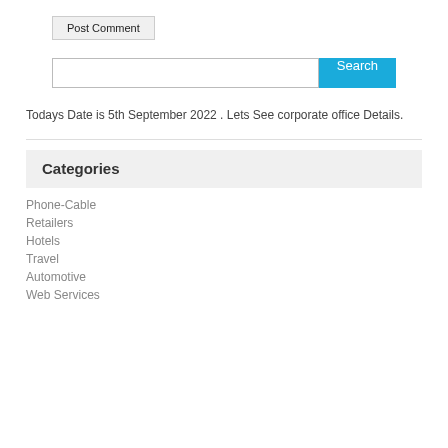Post Comment
[Figure (screenshot): Search bar with text input field and blue Search button]
Todays Date is 5th September 2022 . Lets See corporate office Details.
Categories
Phone-Cable
Retailers
Hotels
Travel
Automotive
Web Services